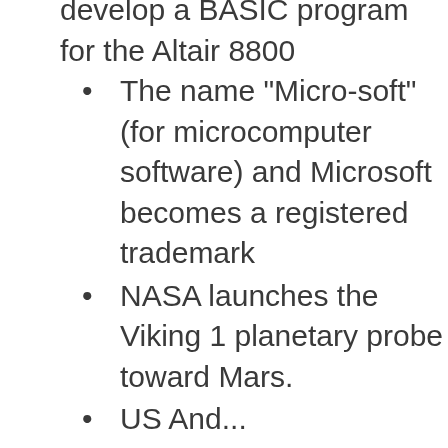develop a BASIC program for the Altair 8800
The name "Micro-soft" (for microcomputer software) and Microsoft becomes a registered trademark
NASA launches the Viking 1 planetary probe toward Mars.
US And...